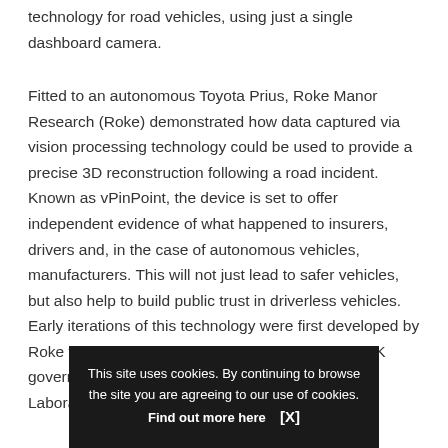technology for road vehicles, using just a single dashboard camera.
Fitted to an autonomous Toyota Prius, Roke Manor Research (Roke) demonstrated how data captured via vision processing technology could be used to provide a precise 3D reconstruction following a road incident. Known as vPinPoint, the device is set to offer independent evidence of what happened to insurers, drivers and, in the case of autonomous vehicles, manufacturers. This will not just lead to safer vehicles, but also help to build public trust in driverless vehicles. Early iterations of this technology were first developed by Roke for soldiers, in research undertaken for the UK government's Defence Science and Technology Laboratory (Dstl).
Over the p... and miniaturising the technology, which has helped funding
This site uses cookies. By continuing to browse the site you are agreeing to our use of cookies. Find out more here [X]